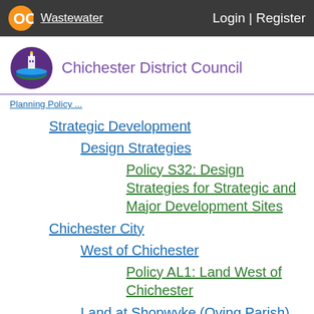Wastewater | Login | Register
Chichester District Council
Strategic Development
Design Strategies
Policy S32: Design Strategies for Strategic and Major Development Sites
Chichester City
West of Chichester
Policy AL1: Land West of Chichester
Land at Shopwyke (Oving Parish)